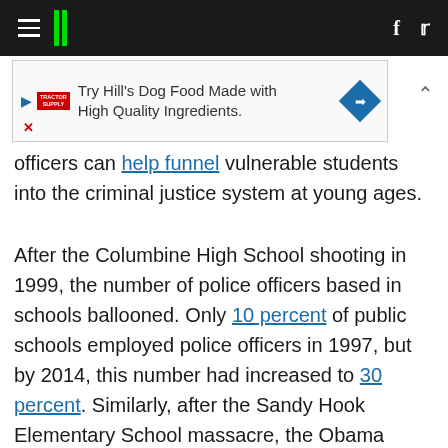HuffPost navigation header with hamburger menu, logo, Facebook and Twitter icons
[Figure (other): Advertisement banner: Try Hill's Dog Food Made with High Quality Ingredients. with Tractor Supply logo and directional diamond icon]
officers can help funnel vulnerable students into the criminal justice system at young ages.
After the Columbine High School shooting in 1999, the number of police officers based in schools ballooned. Only 10 percent of public schools employed police officers in 1997, but by 2014, this number had increased to 30 percent. Similarly, after the Sandy Hook Elementary School massacre, the Obama administration funded a grant program providing federal dollars to schools to hire cops.